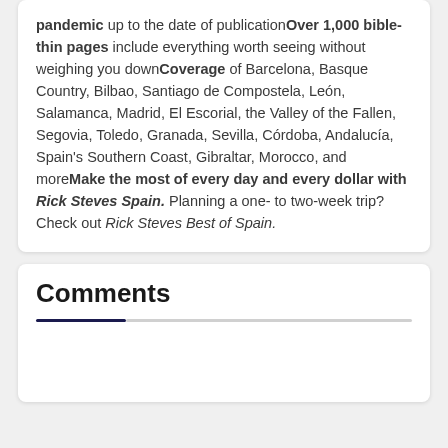pandemic up to the date of publication Over 1,000 bible-thin pages include everything worth seeing without weighing you down Coverage of Barcelona, Basque Country, Bilbao, Santiago de Compostela, León, Salamanca, Madrid, El Escorial, the Valley of the Fallen, Segovia, Toledo, Granada, Sevilla, Córdoba, Andalucía, Spain's Southern Coast, Gibraltar, Morocco, and more Make the most of every day and every dollar with Rick Steves Spain. Planning a one- to two-week trip? Check out Rick Steves Best of Spain.
Comments